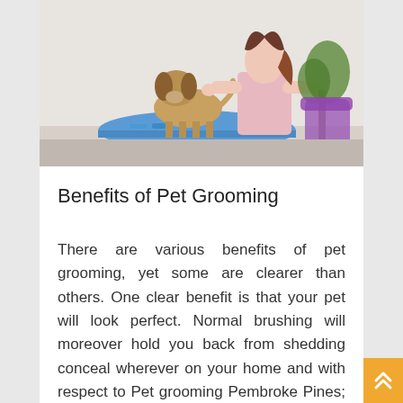[Figure (photo): A person grooming a small Yorkshire Terrier dog on a grooming table in a pet salon]
Benefits of Pet Grooming
There are various benefits of pet grooming, yet some are clearer than others. One clear benefit is that your pet will look perfect. Normal brushing will moreover hold you back from shedding conceal wherever on your home and with respect to Pet grooming Pembroke Pines; it could assist with restricting hair balls. Likewise, there are various benefits to grooming your pet. As far as one